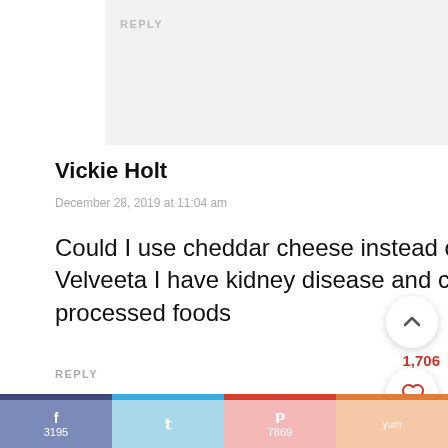REPLY
Vickie Holt
December 28, 2019 at 11:04 am
Could I use cheddar cheese instead of Velveeta I have kidney disease and can't ha processed foods
REPLY
Stephanie
1,706
3195
7869